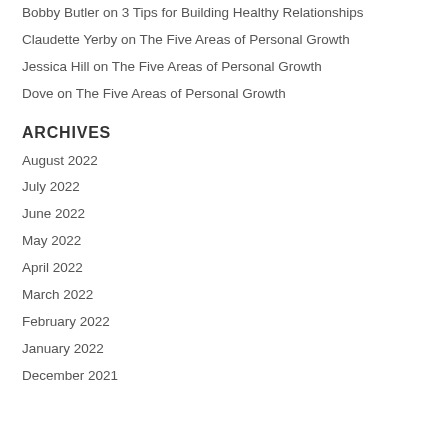Bobby Butler on 3 Tips for Building Healthy Relationships
Claudette Yerby on The Five Areas of Personal Growth
Jessica Hill on The Five Areas of Personal Growth
Dove on The Five Areas of Personal Growth
ARCHIVES
August 2022
July 2022
June 2022
May 2022
April 2022
March 2022
February 2022
January 2022
December 2021